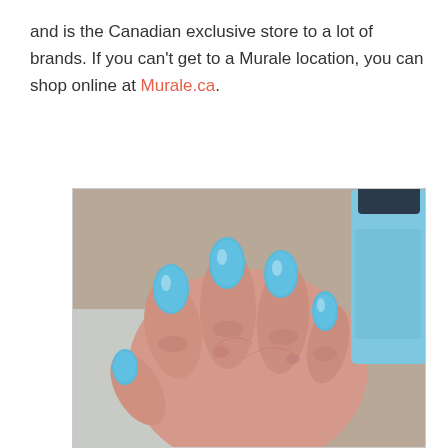and is the Canadian exclusive store to a lot of brands. If you can't get to a Murale location, you can shop online at Murale.ca.
[Figure (photo): A hand with long blue painted nails resting on a surface, with a light blue Rococo nail polish bottle visible in the upper right corner.]